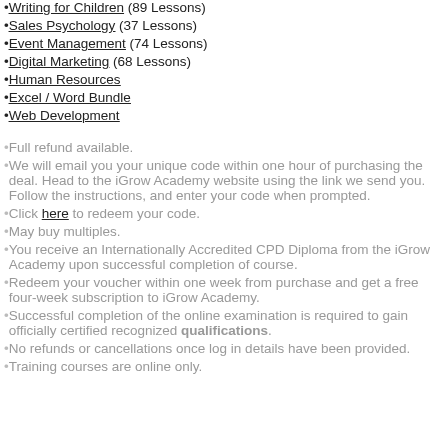Writing for Children (89 Lessons)
Sales Psychology (37 Lessons)
Event Management (74 Lessons)
Digital Marketing (68 Lessons)
Human Resources
Excel / Word Bundle
Web Development
Full refund available.
We will email you your unique code within one hour of purchasing the deal. Head to the iGrow Academy website using the link we send you. Follow the instructions, and enter your code when prompted.
Click here to redeem your code.
May buy multiples.
You receive an Internationally Accredited CPD Diploma from the iGrow Academy upon successful completion of course.
Redeem your voucher within one week from purchase and get a free four-week subscription to iGrow Academy.
Successful completion of the online examination is required to gain officially certified recognized qualifications.
No refunds or cancellations once log in details have been provided.
Training courses are online only.